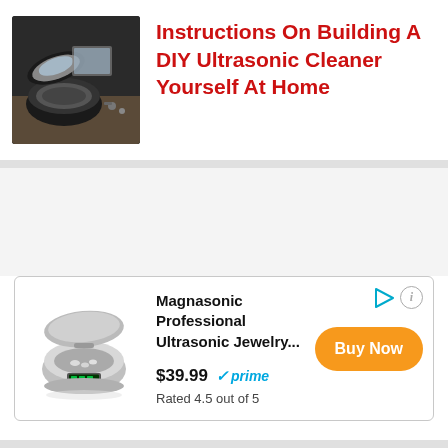[Figure (photo): Photo of a DIY ultrasonic cleaner device, black container with lid open, shown on a workbench]
Instructions On Building A DIY Ultrasonic Cleaner Yourself At Home
[Figure (infographic): Advertisement for Magnasonic Professional Ultrasonic Jewelry Cleaner, $39.99, Prime eligible, Rated 4.5 out of 5, with Buy Now button]
Magnasonic Professional Ultrasonic Jewelry...
$39.99 ✓prime
Rated 4.5 out of 5